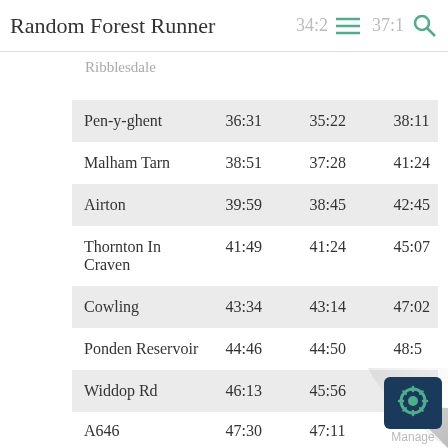Random Forest Runner  34:2  37:1
Ribblesdale
|  |  |  |  |
| --- | --- | --- | --- |
| Pen-y-ghent | 36:31 | 35:22 | 38:11 |
| Malham Tarn | 38:51 | 37:28 | 41:24 |
| Airton | 39:59 | 38:45 | 42:45 |
| Thornton In Craven | 41:49 | 41:24 | 45:07 |
| Cowling | 43:34 | 43:14 | 47:02 |
| Ponden Reservoir | 44:46 | 44:50 | 48:5 |
| Widdop Rd | 46:13 | 45:56 |  |
| A646 | 47:30 | 47:11 |  |